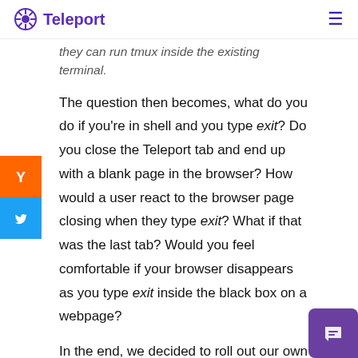Teleport
they can run tmux inside the existing terminal.
The question then becomes, what do you do if you're in shell and you type exit? Do you close the Teleport tab and end up with a blank page in the browser? How would a user react to the browser page closing when they type exit? What if that was the last tab? Would you feel comfortable if your browser disappears as you type exit inside the black box on a webpage?
In the end, we decided to roll out our own built-in tabbing to address the following: